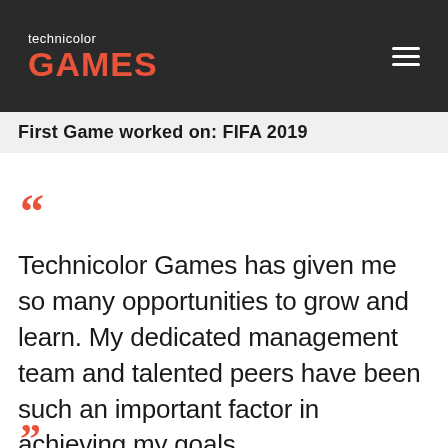technicolor GAMES
First Game worked on: FIFA 2019
“
Technicolor Games has given me so many opportunities to grow and learn. My dedicated management team and talented peers have been such an important factor in achieving my goals.
”